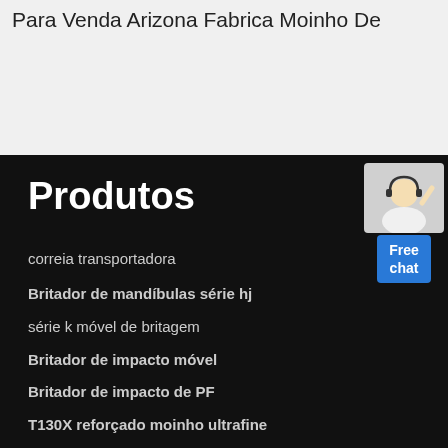Para Venda Arizona Fabrica Moinho De
Produtos
[Figure (illustration): Customer service representative with headset, with a blue Free chat button widget]
correia transportadora
Britador de mandíbulas série hj
série k móvel de britagem
Britador de impacto móvel
Britador de impacto de PF
T130X reforçado moinho ultrafine